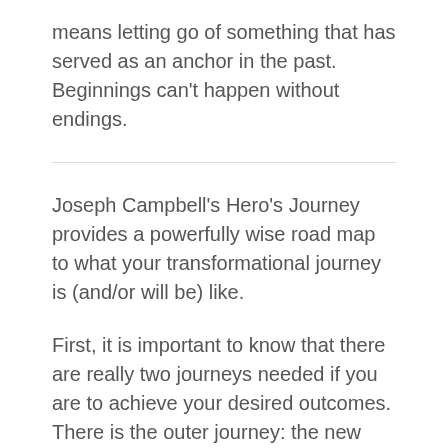means letting go of something that has served as an anchor in the past. Beginnings can't happen without endings.
Joseph Campbell's Hero's Journey provides a powerfully wise road map to what your transformational journey is (and/or will be) like.
First, it is important to know that there are really two journeys needed if you are to achieve your desired outcomes. There is the outer journey: the new facilities, the new strategy, the new technology, the new processes, the new products, the new comp plan; you get the idea. (At the individual level, it may be the new career choice, the new relationship, the new home, etc.) But, there is also the inner journey: the new way of thinking about